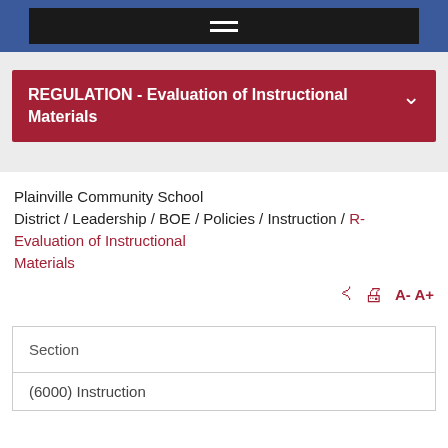Navigation bar with hamburger menu
REGULATION - Evaluation of Instructional Materials
Plainville Community School District / Leadership / BOE / Policies / Instruction / - Evaluation of Instructional Materials
A- A+
| Section |
| --- |
| (6000) Instruction |